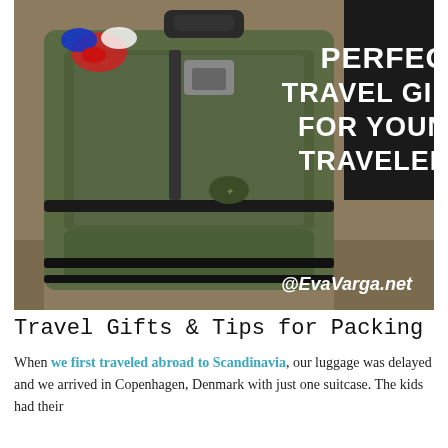[Figure (photo): Photo of a green rolling suitcase with a red/white/blue ribbon decoration on the handle, sitting on a textured floor next to a black bag. White handwritten-style text overlay reads 'Perfect Travel Gifts for Young Travelers' and '@EvaVarga.net' watermark.]
Travel Gifts & Tips for Packing
When we first traveled abroad to Scandinavia, our luggage was delayed and we arrived in Copenhagen, Denmark with just one suitcase. The kids had their